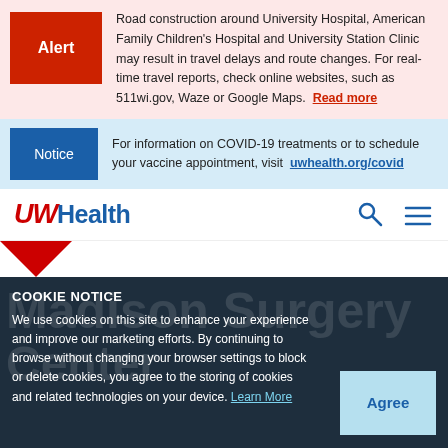Road construction around University Hospital, American Family Children's Hospital and University Station Clinic may result in travel delays and route changes. For real-time travel reports, check online websites, such as 511wi.gov, Waze or Google Maps. Read more
For information on COVID-19 treatments or to schedule your vaccine appointment, visit uwhealth.org/covid
[Figure (logo): UW Health logo with red italic UW and blue Health text]
[Figure (other): Red downward-pointing triangle graphic element]
Madison Surgery
COOKIE NOTICE
We use cookies on this site to enhance your experience and improve our marketing efforts. By continuing to browse without changing your browser settings to block or delete cookies, you agree to the storing of cookies and related technologies on your device. Learn More